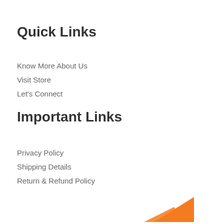Quick Links
Know More About Us
Visit Store
Let's Connect
Important Links
Privacy Policy
Shipping Details
Return & Refund Policy
[Figure (illustration): Orange arrow/chevron shape at bottom right corner]